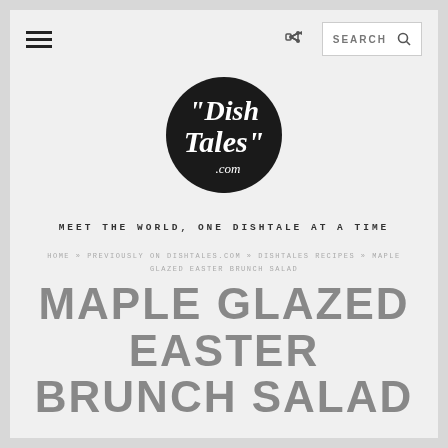Menu | Share | SEARCH
[Figure (logo): DishTales.com logo — dark circle with stylized serif text 'Dish Tales .com' in white on black circular background]
MEET THE WORLD, ONE DISHTALE AT A TIME
HOME » PREVIOUSLY ON DISHTALES.COM » DISHTALES RECIPES » MAPLE GLAZED EASTER BRUNCH SALAD
MAPLE GLAZED EASTER BRUNCH SALAD